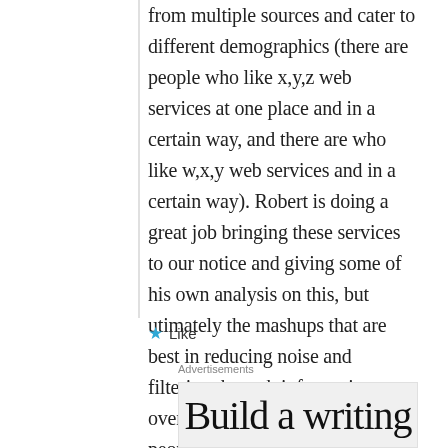from multiple sources and cater to different demographics (there are people who like x,y,z web services at one place and in a certain way, and there are who like w,x,y web services and in a certain way). Robert is doing a great job bringing these services to our notice and giving some of his own analysis on this, but utimately the mashups that are best in reducing noise and filtering through information overload, and in a way most people like it will survive, whereas others will join the deadpool soon.
Like
Advertisements
Build a writing